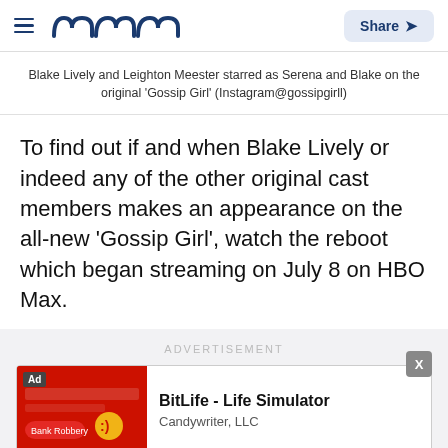meaww — Share
Blake Lively and Leighton Meester starred as Serena and Blake on the original 'Gossip Girl' (Instagram@gossipgirll)
To find out if and when Blake Lively or indeed any of the other original cast members makes an appearance on the all-new 'Gossip Girl', watch the reboot which began streaming on July 8 on HBO Max.
ADVERTISEMENT
[Figure (screenshot): App store advertisement card for BitLife - Life Simulator by Candywriter, LLC with a red background thumbnail and Ad badge.]